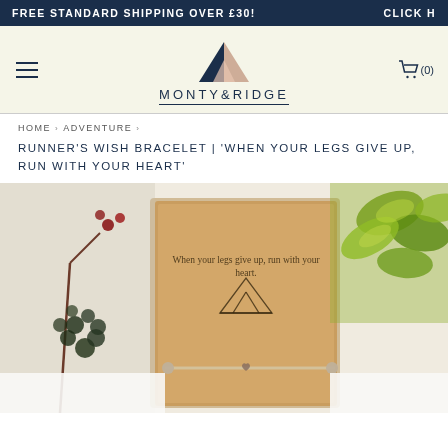FREE STANDARD SHIPPING OVER £30!   CLICK H
[Figure (logo): Monty & Ridge logo with geometric mountain triangle in navy and pink/salmon tones above the brand name text]
HOME  >  ADVENTURE  >
RUNNER'S WISH BRACELET | 'WHEN YOUR LEGS GIVE UP, RUN WITH YOUR HEART'
[Figure (photo): Product photo of a wish bracelet on a brown kraft paper card with text 'When your legs give up, run with your heart' and a geometric mountain logo, surrounded by green plants and succulents on a white background]